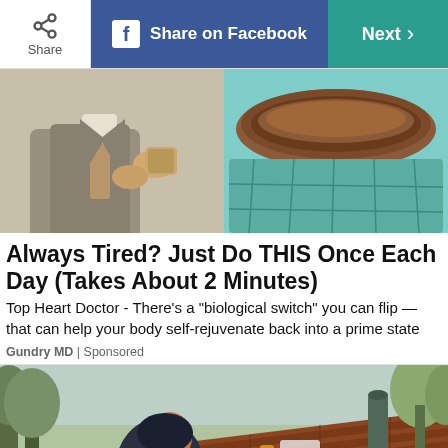[Figure (screenshot): Toolbar with Share button, Share on Facebook button (blue), and Next button (teal/green)]
[Figure (photo): Split image: left side shows a man in a suit, right side shows a decorative garden container with soil and blue mosaic tiles]
Always Tired? Just Do THIS Once Each Day (Takes About 2 Minutes)
Top Heart Doctor - There’s a “biological switch” you can flip — that can help your body self-rejuvenate back into a prime state
Gundry MD | Sponsored
[Figure (photo): A worker in a dark hoodie using a power drill on a residential roof with shingles, trees visible in background]